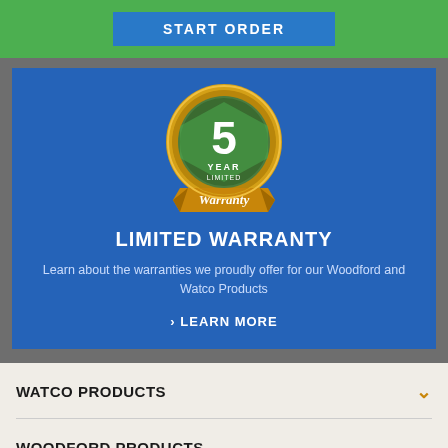START ORDER
[Figure (illustration): 5 Year Limited Warranty badge — gold shield with green chevron center, white '5' numeral, text 'YEAR LIMITED' and 'Warranty' on a gold ribbon banner]
LIMITED WARRANTY
Learn about the warranties we proudly offer for our Woodford and Watco Products
> LEARN MORE
WATCO PRODUCTS
WOODFORD PRODUCTS
MARA PRODUCTS